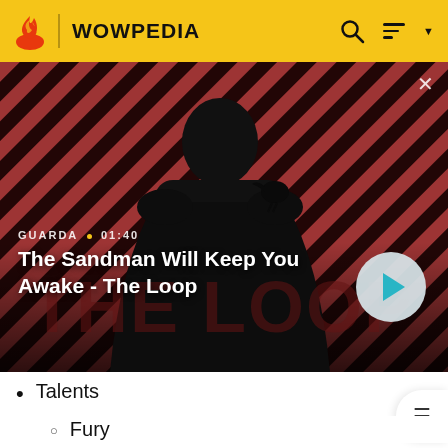WOWPEDIA
[Figure (photo): Video thumbnail showing a dark figure in black cape with a crow on shoulder, against a red and dark diagonal striped background. Title text 'The Sandman Will Keep You Awake - The Loop' with GUARDA label and 01:40 timestamp. Play button on right.]
Talents
Fury
Rampage: This effect is now passive instead of being a proc from critical strikes.
Protection